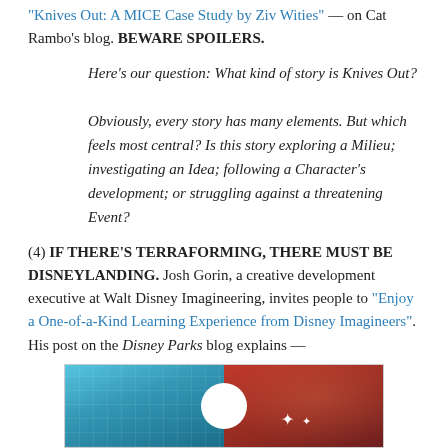“Knives Out: A MICE Case Study by Ziv Wities” — on Cat Rambo’s blog. BEWARE SPOILERS.
Here’s our question: What kind of story is Knives Out?
Obviously, every story has many elements. But which feels most central? Is this story exploring a Milieu; investigating an Idea; following a Character’s development; or struggling against a threatening Event?
(4) IF THERE’S TERRAFORMING, THERE MUST BE DISNEYLANDING. Josh Gorin, a creative development executive at Walt Disney Imagineering, invites people to “Enjoy a One-of-a-Kind Learning Experience from Disney Imagineers”. His post on the Disney Parks blog explains —
[Figure (photo): A split image: left half shows a blue/teal glass dome structure with a bright sky, right half shows a dramatic red/orange sky with dark clouds. A white circle (likely a logo or moon) is centered between the two halves, with stars/sparkle symbols to the right on the red side.]